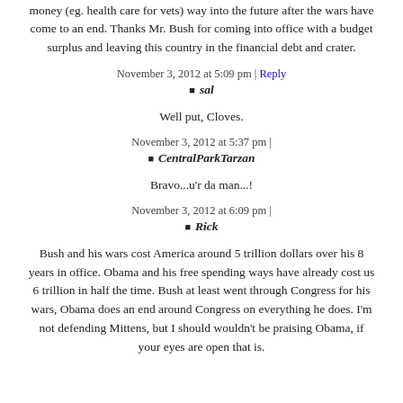money (eg. health care for vets) way into the future after the wars have come to an end. Thanks Mr. Bush for coming into office with a budget surplus and leaving this country in the financial debt and crater.
November 3, 2012 at 5:09 pm | Reply
sal
Well put, Cloves.
November 3, 2012 at 5:37 pm |
CentralParkTarzan
Bravo...u'r da man...!
November 3, 2012 at 6:09 pm |
Rick
Bush and his wars cost America around 5 trillion dollars over his 8 years in office. Obama and his free spending ways have already cost us 6 trillion in half the time. Bush at least went through Congress for his wars, Obama does an end around Congress on everything he does. I'm not defending Mittens, but I should wouldn't be praising Obama, if your eyes are open that is.